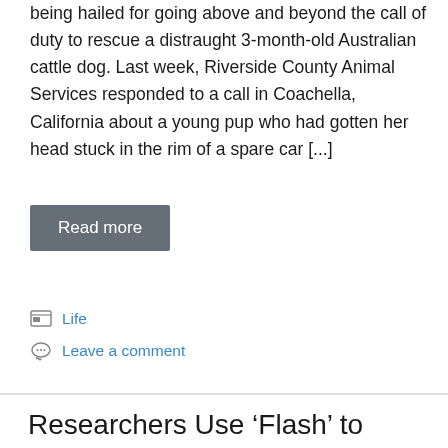being hailed for going above and beyond the call of duty to rescue a distraught 3-month-old Australian cattle dog. Last week, Riverside County Animal Services responded to a call in Coachella, California about a young pup who had gotten her head stuck in the rim of a spare car [...]
Read more
Life
Leave a comment
Researchers Use ‘Flash’ to